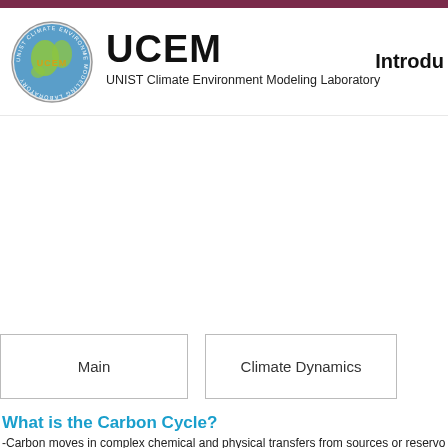UCEM — UNIST Climate Environment Modeling Laboratory | Introdu
UCEM
UNIST Climate Environment Modeling Laboratory
Introdu
Main
Climate Dynamics
What is the Carbon Cycle?
-Carbon moves in complex chemical and physical transfers from sources or reservo...